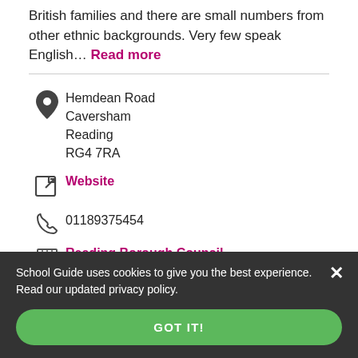British families and there are small numbers from other ethnic backgrounds. Very few speak English… Read more
Hemdean Road Caversham Reading RG4 7RA
Website
01189375454
Reading Borough Council
School Guide uses cookies to give you the best experience. Read our updated privacy policy.
GOT IT!